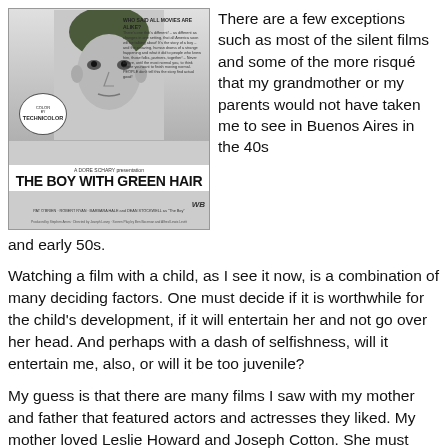[Figure (illustration): Movie poster for 'The Boy with Green Hair' in black and white, showing a boy's face, COLOR BY TECHNICOLOR oval badge, tagline text, and bold title at bottom.]
There are a few exceptions such as most of the silent films and some of the more risqué that my grandmother or my parents would not have taken me to see in Buenos Aires in the 40s and early 50s.
Watching a film with a child, as I see it now, is a combination of many deciding factors. One must decide if it is worthwhile for the child's development, if it will entertain her and not go over her head. And perhaps with a dash of selfishness, will it entertain me, also, or will it be too juvenile?
My guess is that there are many films I saw with my mother and father that featured actors and actresses they liked. My mother loved Leslie Howard and Joseph Cotton. She must